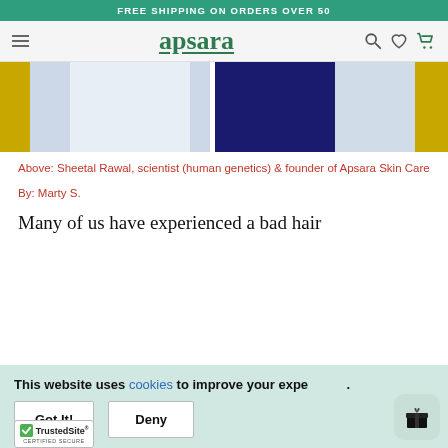FREE SHIPPING ON ORDERS OVER 50
[Figure (logo): Apsara brand logo with hamburger menu, search, heart, and cart icons on a light gray navbar]
[Figure (photo): Cropped hero image showing people in blue, dark navy, and gold/yellow clothing]
Above: Sheetal Rawal, scientist (human genetics) & founder of Apsara Skin Care
By: Marty S.
Many of us have experienced a bad hair
This website uses cookies to improve your experience.
Got It!
Deny
[Figure (logo): TrustedSite Certified Secure badge]